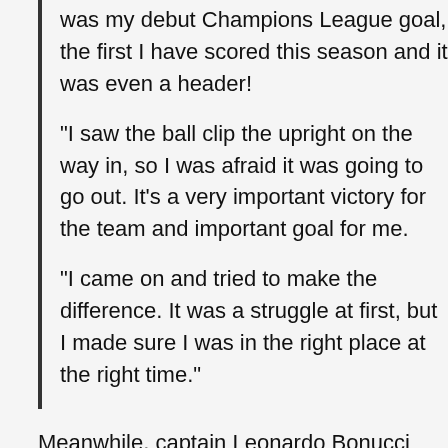was my debut Champions League goal, the first I have scored this season and it was even a header!
“I saw the ball clip the upright on the way in, so I was afraid it was going to go out. It’s a very important victory for the team and important goal for me.
“I came on and tried to make the difference. It was a struggle at first, but I made sure I was in the right place at the right time.”
Meanwhile, captain Leonardo Bonucci was awarded the Man of the Match and spoke about the teamwork and effort afterwards, referencing the departure of Cristiano Ronaldo, who has now taken his savior exploits to Manchester United.
“It’s absolutely true, it is what we all said. In the